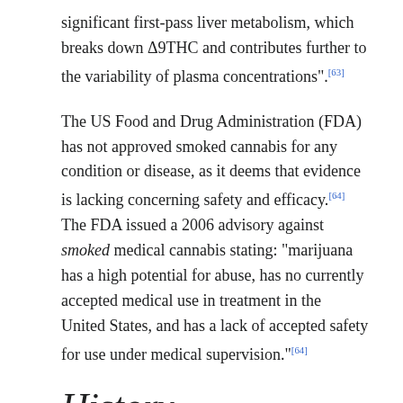significant first-pass liver metabolism, which breaks down Δ9THC and contributes further to the variability of plasma concentrations".[63]
The US Food and Drug Administration (FDA) has not approved smoked cannabis for any condition or disease, as it deems that evidence is lacking concerning safety and efficacy.[64] The FDA issued a 2006 advisory against smoked medical cannabis stating: "marijuana has a high potential for abuse, has no currently accepted medical use in treatment in the United States, and has a lack of accepted safety for use under medical supervision."[64]
History
Main article: History of medical cannabis
Ancient